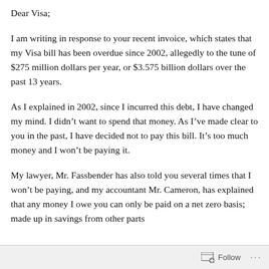Dear Visa;
I am writing in response to your recent invoice, which states that my Visa bill has been overdue since 2002, allegedly to the tune of $275 million dollars per year, or $3.575 billion dollars over the past 13 years.
As I explained in 2002, since I incurred this debt, I have changed my mind. I didn't want to spend that money. As I've made clear to you in the past, I have decided not to pay this bill. It's too much money and I won't be paying it.
My lawyer, Mr. Fassbender has also told you several times that I won't be paying, and my accountant Mr. Cameron, has explained that any money I owe you can only be paid on a net zero basis; made up in savings from other parts of my current bill…
Follow